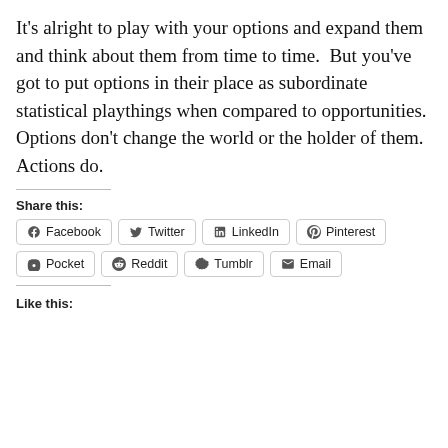It's alright to play with your options and expand them and think about them from time to time.  But you've got to put options in their place as subordinate statistical playthings when compared to opportunities.  Options don't change the world or the holder of them.  Actions do.
Share this:
Facebook  Twitter  LinkedIn  Pinterest  Pocket  Reddit  Tumblr  Email
Like this: